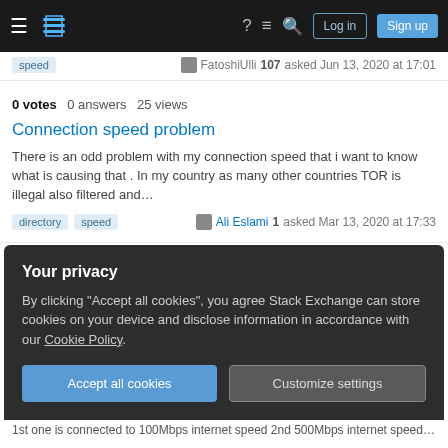Stack Exchange navigation bar with hamburger menu, logo, help, chat, search icons, Log in and Sign up buttons
speed  [avatar] FatoshiUlli 107 asked Jun 13, 2020 at 17:01
0 votes  0 answers  25 views
Connection speed problem
There is an odd problem with my connection speed that i want to know what is causing that . In my country as many other countries TOR is illegal also filtered and…
directory  speed  [avatar] Ali Eslami 1 asked Mar 13, 2020 at 17:33
0 votes  2 answers  319 views
Best configuration for a low latency fast hidden service?
I set up a hidden service that serves a static low sized page but still it takes at least
Your privacy
By clicking "Accept all cookies", you agree Stack Exchange can store cookies on your device and disclose information in accordance with our Cookie Policy.
Accept all cookies
Customize settings
1st one is connected to 100Mbps internet speed 2nd 500Mbps internet speed 3rd…